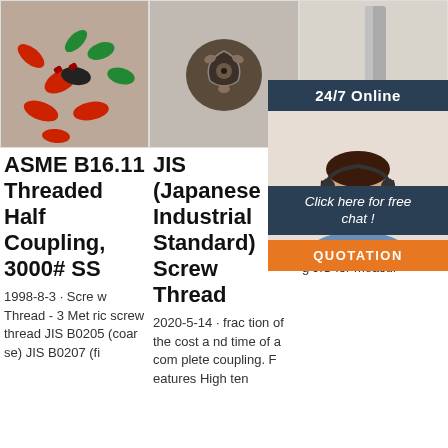[Figure (photo): Colored plastic screw connectors and fittings, various colors including red, black, and green]
[Figure (photo): Dark metal drill bit or rotary tool with multiple cutting edges]
[Figure (photo): Metal chisel or flat screwdriver bit on light background]
ASME B16.11 Threaded Half Coupling, 3000# SS
JIS (Japanese Industrial Standard) Screw Thread
JIS Tec
1998-8-3 · Screw Thread - 3 Metric screw thread JIS B0205 (coarse) JIS B0207 (fi
2020-5-14 · fraction of the cost and time of a complete coupling. Features High ten
202 w E and he J ustrial Standards (JIS) - Establishment and revision of JIS, including JIS for measur
[Figure (infographic): 24/7 Online chat support overlay with agent photo, 'Click here for free chat!' bubble, and orange QUOTATION button]